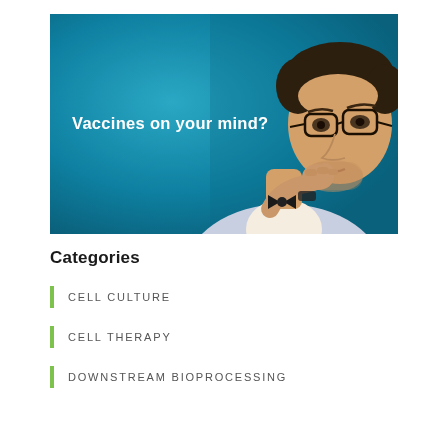[Figure (photo): A man with glasses in a thinking pose against a teal/blue background, with the text 'Vaccines on your mind?' overlaid in white bold font on the left side of the image.]
Categories
CELL CULTURE
CELL THERAPY
DOWNSTREAM BIOPROCESSING